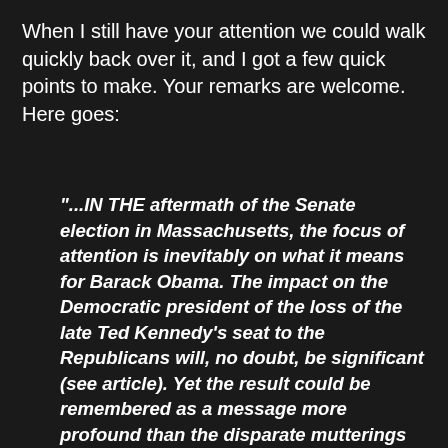When I still have your attention we could walk quickly back over it, and I got a few quick points to make. Your remarks are welcome. Here goes:
"...IN THE aftermath of the Senate election in Massachusetts, the focus of attention is inevitably on what it means for Barack Obama. The impact on the Democratic president of the loss of the late Ted Kennedy's seat to the Republicans will, no doubt, be significant (see article). Yet the result could be remembered as a message more profound than the disparate mutterings of a grumpy electorate that has lost faith in its leader—as a growl of hostility to the rising power of the state. America's most vibrant political force at the moment is the anti-tax tea-party movement. Even in leftish Massachusetts people are worried that Mr Obama's spending splurge, notably his still-